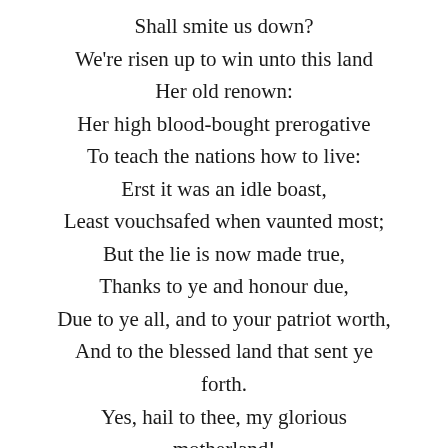Shall smite us down?
We're risen up to win unto this land
Her old renown:
Her high blood-bought prerogative
To teach the nations how to live:
Erst it was an idle boast,
Least vouchsafed when vaunted most;
But the lie is now made true,
Thanks to ye and honour due,
Due to ye all, and to your patriot worth,
And to the blessed land that sent ye forth.
Yes, hail to thee, my glorious motherland!
For glorious shalt thou be